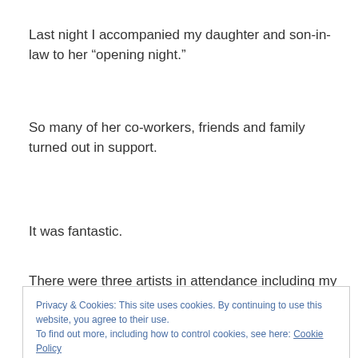Last night I accompanied my daughter and son-in-law to her “opening night.”
So many of her co-workers, friends and family turned out in support.
It was fantastic.
There were three artists in attendance including my daughter who were show casing their art.
Privacy & Cookies: This site uses cookies. By continuing to use this website, you agree to their use.
To find out more, including how to control cookies, see here: Cookie Policy